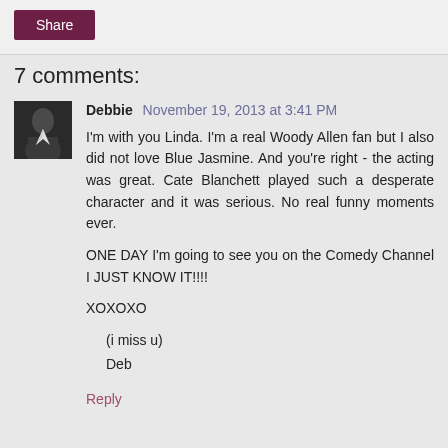Share
7 comments:
Debbie November 19, 2013 at 3:41 PM
I'm with you Linda. I'm a real Woody Allen fan but I also did not love Blue Jasmine. And you're right - the acting was great. Cate Blanchett played such a desperate character and it was serious. No real funny moments ever.

ONE DAY I'm going to see you on the Comedy Channel I JUST KNOW IT!!!!

XOXOXO

(i miss u)
Deb
Reply